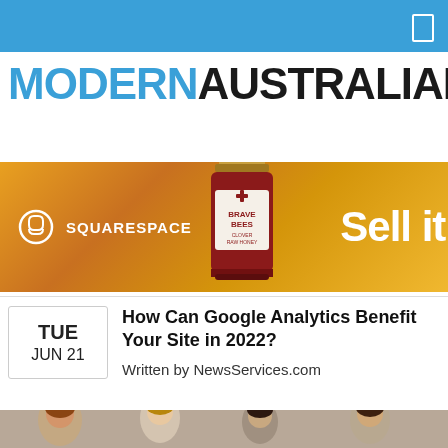MODERNAUSTRALIAN
[Figure (other): Squarespace advertisement banner with a honey jar labeled 'Brave Bees' and text 'Sell it.' on an orange/golden background]
How Can Google Analytics Benefit Your Site in 2022?
Written by NewsServices.com
[Figure (photo): Photo of people, appears to be a group in an office or meeting setting, partially visible at bottom of page]